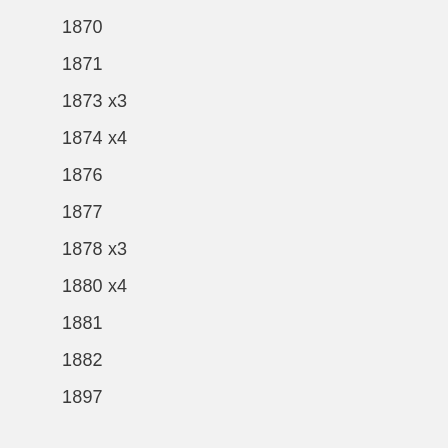1870
1871
1873 x3
1874 x4
1876
1877
1878 x3
1880 x4
1881
1882
1897